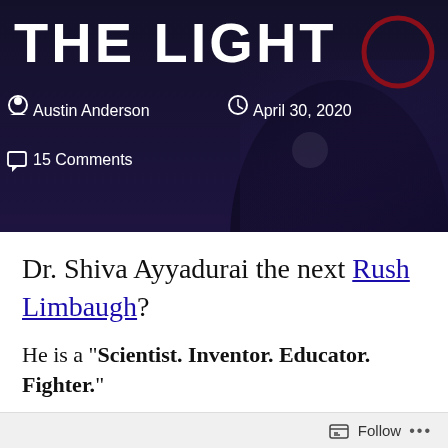[Figure (photo): Dark header image with partial text 'THE LIGHT' in large white bold letters, a dark silhouette figure on the right side, and a dark red circle outline in the upper right. Author metadata and date overlay on the dark background.]
Austin Anderson   April 30, 2020   15 Comments
Dr. Shiva Ayyadurai the next Rush Limbaugh?
He is a “Scientist. Inventor. Educator. Fighter.”
He stands up for the American dream,
Follow